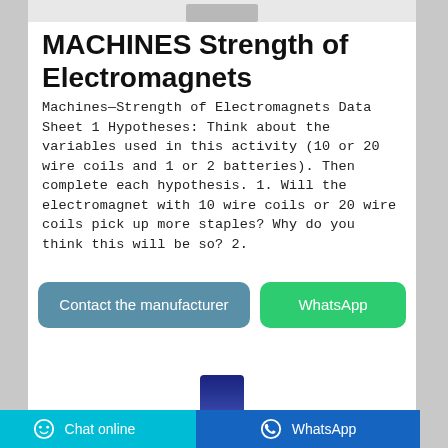[Figure (photo): Partial top of a product image, gray/white strip at top of page card]
MACHINES Strength of Electromagnets
Machines—Strength of Electromagnets Data Sheet 1 Hypotheses: Think about the variables used in this activity (10 or 20 wire coils and 1 or 2 batteries). Then complete each hypothesis. 1. Will the electromagnet with 10 wire coils or 20 wire coils pick up more staples? Why do you think this will be so? 2.
[Figure (screenshot): Contact the manufacturer button (blue-gray rounded rectangle) and WhatsApp button (green rounded rectangle)]
[Figure (photo): Bottom portion of a product image showing a dark blue cylindrical object top]
Chat online   WhatsApp